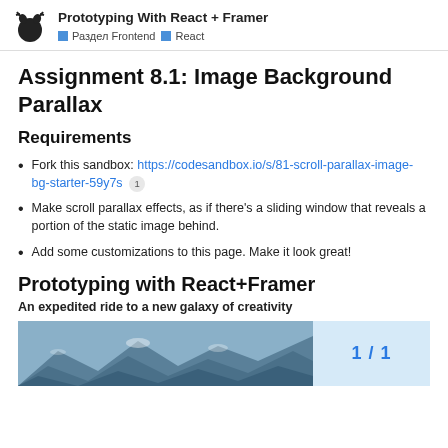Prototyping With React + Framer — Раздел Frontend, React
Assignment 8.1: Image Background Parallax
Requirements
Fork this sandbox: https://codesandbox.io/s/81-scroll-parallax-image-bg-starter-59y7s
Make scroll parallax effects, as if there's a sliding window that reveals a portion of the static image behind.
Add some customizations to this page. Make it look great!
Prototyping with React+Framer
An expedited ride to a new galaxy of creativity
[Figure (photo): Mountain/landscape photo on the left, and a pagination indicator '1 / 1' on a light blue background on the right.]